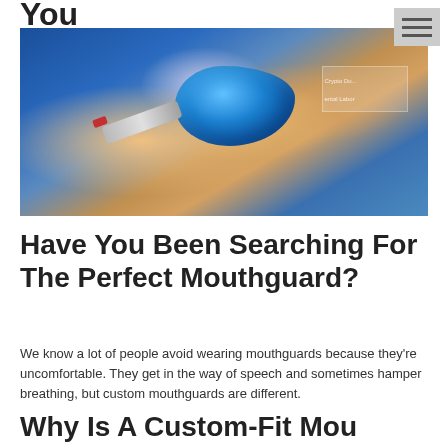You
[Figure (photo): Close-up photo of hands working on a blue dental mouthguard impression, with dental tools, person wearing blue scrubs]
Have You Been Searching For The Perfect Mouthguard?
We know a lot of people avoid wearing mouthguards because they're uncomfortable. They get in the way of speech and sometimes hamper breathing, but custom mouthguards are different.
Why Is A Custom-Fit Mouthguard Important?